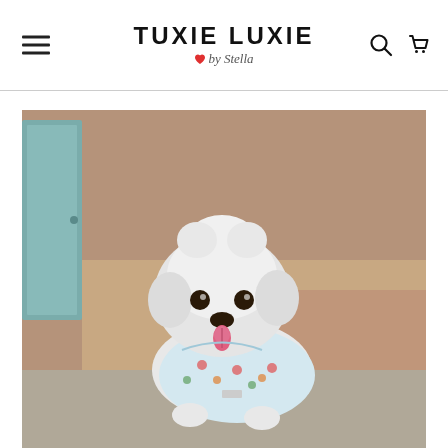TUXIE LUXIE by Stella
[Figure (photo): A small fluffy white dog wearing a floral patterned shirt/outfit, sticking its tongue out. The dog is photographed outdoors against a sandy brown wall and a teal/green door.]